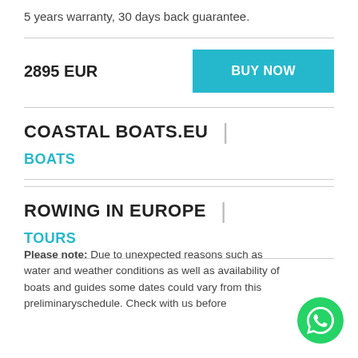5 years warranty, 30 days back guarantee.
2895 EUR
BUY NOW
COASTAL BOATS.EU
BOATS
ROWING IN EUROPE
TOURS
Please note: Due to unexpected reasons such as water and weather conditions as well as availability of boats and guides some dates could vary from this preliminaryschedule. Check with us before